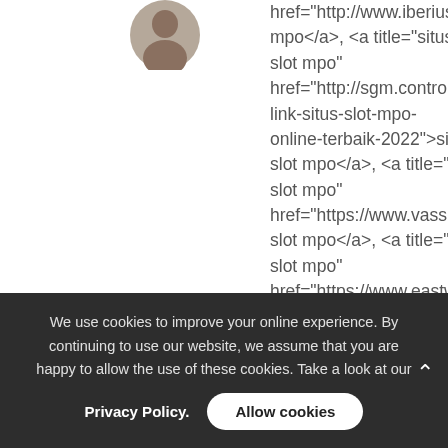[Figure (photo): Partial circular avatar/profile photo of a person, cropped at top of page]
href="http://www.iberius.org mpo</a>, <a title="situs slot mpo" href="http://sgm.controlmin link-situs-slot-mpo-online-terbaik-2022">situs slot mpo</a>, <a title="link slot mpo" href="https://www.vass.edu. slot mpo</a>, <a title="BO slot mpo" href="https://www.eastwind slot mpo</a>, <a title="daftar slot mpo" href="https://www.ufhillel.org slot mpo</a>, <a title="game slot mpo href="https://www.impactco slot mpo</a>, <a title="t mpo slot https://www.thepuent slot mpo</a>, <a
We use cookies to improve your online experience. By continuing to use our website, we assume that you are happy to allow the use of these cookies. Take a look at our
Privacy Policy.
Allow cookies